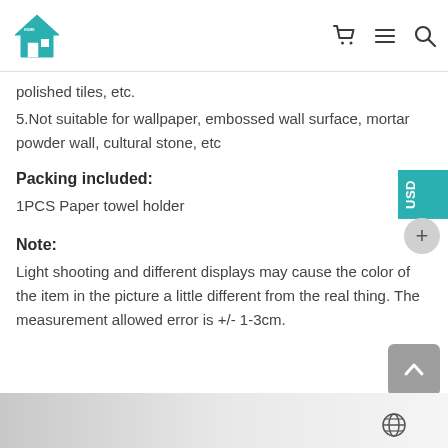Home store navigation header with cart, menu, and search icons
polished tiles, etc.
5.Not suitable for wallpaper, embossed wall surface, mortar powder wall, cultural stone, etc
Packing included:
1PCS Paper towel holder
Note:
Light shooting and different displays may cause the color of the item in the picture a little different from the real thing. The measurement allowed error is +/- 1-3cm.
[Figure (other): Bottom image strip with gradient background]